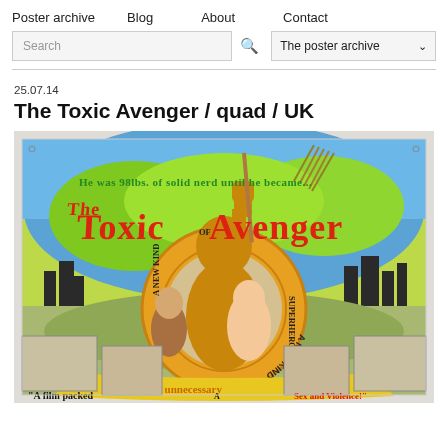Poster archive  Blog  About  Contact
Search  The poster archive
25.07.14
The Toxic Avenger / quad / UK
[Figure (photo): Movie poster for The Toxic Avenger (UK quad). Features the Toxic Avenger character holding a mop raised with one fist, surrounded by a life preserver ring reading 'A New Kind Of Superhero'. Text reads 'He was 98lbs. of solid nerd until he became...' at the top in green. The title 'The Toxic Avenger' in large red/orange letters. Bottom text reads 'full of unnecessary' and partially 'A film packed' and 'Sex and Violence!']